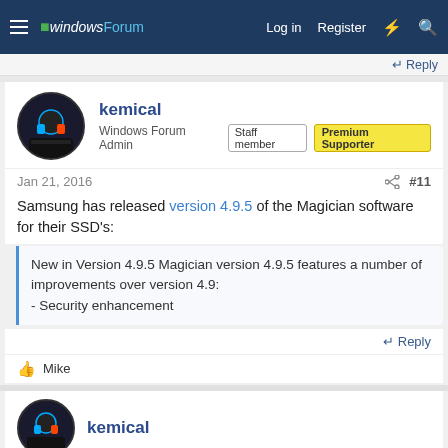windowsForum — Log in  Register
↩ Reply
kemical
Windows Forum Admin  Staff member  Premium Supporter
Jan 21, 2016  #11
Samsung has released version 4.9.5 of the Magician software for their SSD's:
New in Version 4.9.5 Magician version 4.9.5 features a number of improvements over version 4.9:
- Security enhancement
↩ Reply
👍 Mike
kemical